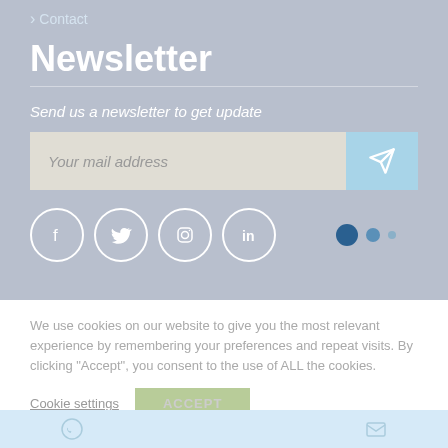Contact
Newsletter
Send us a newsletter to get update
Your mail address
[Figure (infographic): Social media icons: Facebook, Twitter, Instagram, LinkedIn circles with white outlines, and three dots of decreasing size in blue]
We use cookies on our website to give you the most relevant experience by remembering your preferences and repeat visits. By clicking "Accept", you consent to the use of ALL the cookies.
Cookie settings  ACCEPT
[Figure (infographic): Bottom bar with WhatsApp icon on left and mail/envelope icon on right]